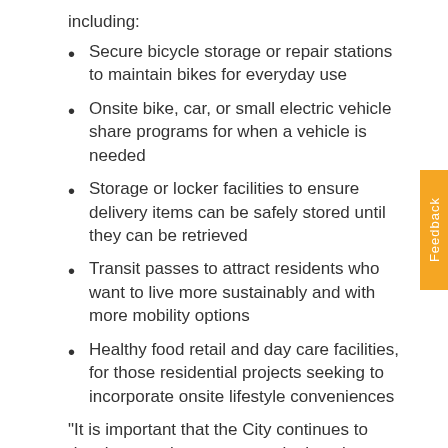including:
Secure bicycle storage or repair stations to maintain bikes for everyday use
Onsite bike, car, or small electric vehicle share programs for when a vehicle is needed
Storage or locker facilities to ensure delivery items can be safely stored until they can be retrieved
Transit passes to attract residents who want to live more sustainably and with more mobility options
Healthy food retail and day care facilities, for those residential projects seeking to incorporate onsite lifestyle conveniences
“It is important that the City continues to develop creative ways to make housing at all levels in San Diego more affordable,” said City Councilmember Scott Sherman. “The Mayor’s proposed parking…